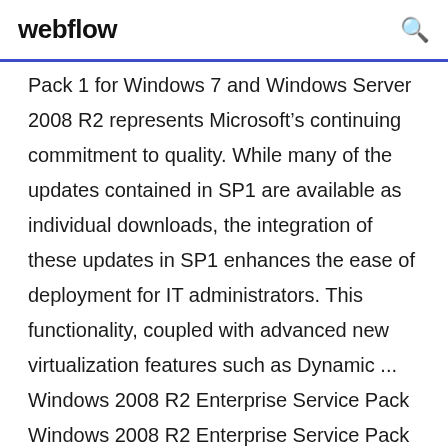webflow
Pack 1 for Windows 7 and Windows Server 2008 R2 represents Microsoft’s continuing commitment to quality. While many of the updates contained in SP1 are available as individual downloads, the integration of these updates in SP1 enhances the ease of deployment for IT administrators. This functionality, coupled with advanced new virtualization features such as Dynamic ... Windows 2008 R2 Enterprise Service Pack Windows 2008 R2 Enterprise Service Pack microsoft office license key registry autocad architecture 2013 updates online archive is not visible in outlook. SEG1 hp × Weekly Ad Office Depot Business Solution OfficeMax Workplace